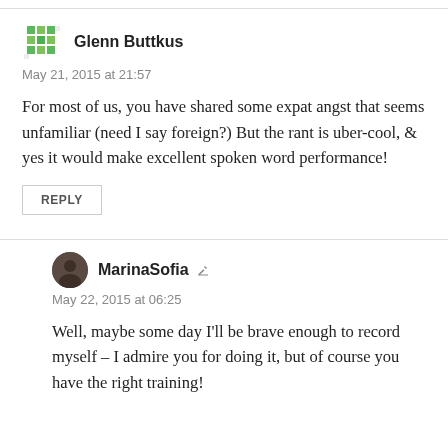[Figure (illustration): Green mosaic/CBC-style avatar icon for user Glenn Buttkus]
Glenn Buttkus
May 21, 2015 at 21:57
For most of us, you have shared some expat angst that seems unfamiliar (need I say foreign?) But the rant is uber-cool, & yes it would make excellent spoken word performance!
REPLY
[Figure (photo): Dark circular avatar photo for user MarinaSofia]
MarinaSofia
May 22, 2015 at 06:25
Well, maybe some day I'll be brave enough to record myself – I admire you for doing it, but of course you have the right training!